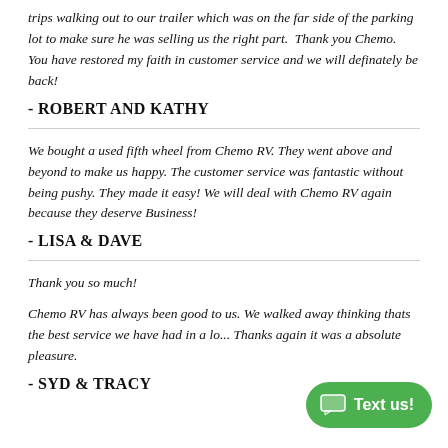trips walking out to our trailer which was on the far side of the parking lot to make sure he was selling us the right part.  Thank you Chemo.  You have restored my faith in customer service and we will definately be back!
- ROBERT AND KATHY
We bought a used fifth wheel from Chemo RV. They went above and beyond to make us happy. The customer service was fantastic without being pushy. They made it easy! We will deal with Chemo RV again because they deserve Business!
- LISA & DAVE
Thank you so much!
Chemo RV has always been good to us. We walked away thinking thats the best service we have had in a lo... Thanks again it was a absolute pleasure.
- SYD & TRACY